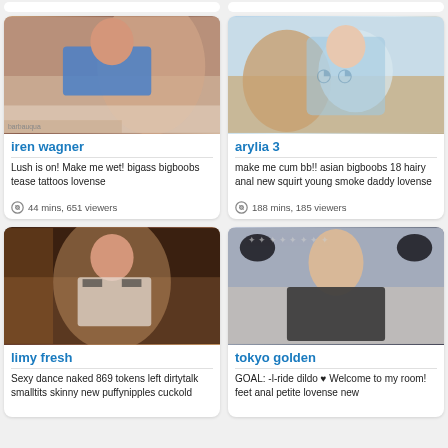[Figure (photo): Partial top strip of two cards visible at the very top of the page]
[Figure (photo): Photo of iren wagner - woman in blue dress on bed]
iren wagner
Lush is on! Make me wet! bigass bigboobs tease tattoos lovense
44 mins, 651 viewers
[Figure (photo): Photo of arylia 3 - person in light blue shirt with teddy bear]
arylia 3
make me cum bb!! asian bigboobs 18 hairy anal new squirt young smoke daddy lovense
188 mins, 185 viewers
[Figure (photo): Photo of limy fresh - woman in sailor outfit]
limy fresh
Sexy dance naked 869 tokens left dirtytalk smalltits skinny new puffynipples cuckold
[Figure (photo): Photo of tokyo golden - woman with cat ears]
tokyo golden
GOAL: -l-ride dildo ♥ Welcome to my room! feet anal petite lovense new